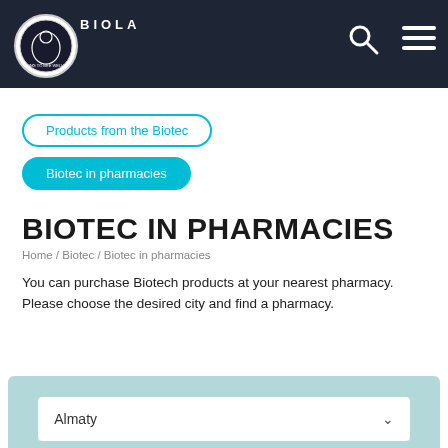BIOLA
Products from the Biotec
Biotec in pharmacies
BIOTEC IN PHARMACIES
Home / Biotec / Biotec in pharmacies
You can purchase Biotech products at your nearest pharmacy. Please choose the desired city and find a pharmacy.
Almaty